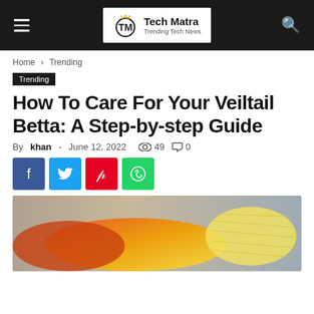Tech Matra – Trending Tech News
Home › Trending
Trending
How To Care For Your Veiltail Betta: A Step-by-step Guide
By khan - June 12, 2022   49   0
[Figure (screenshot): Social sharing buttons: Facebook (blue), Twitter (cyan), Pinterest (red), WhatsApp (green)]
[Figure (photo): Close-up photo of a yellow veiltail betta fish with orange-red coloring on a blurred background]